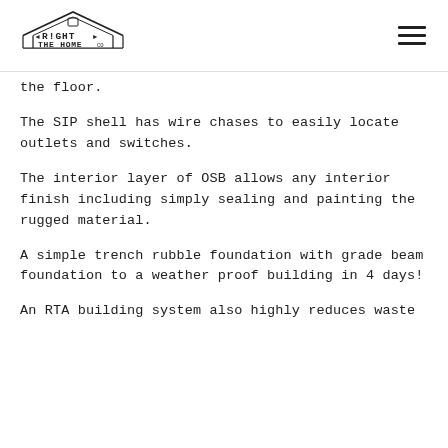RIGHT THE HOME CO
the floor.
The SIP shell has wire chases to easily locate outlets and switches.
The interior layer of OSB allows any interior finish including simply sealing and painting the rugged material.
A simple trench rubble foundation with grade beam foundation to a weather proof building in 4 days!
An RTA building system also highly reduces waste